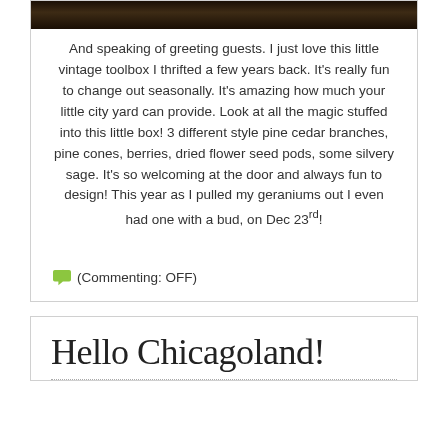[Figure (photo): Dark background photo strip at top of card, showing dark textured surface (bark or wood)]
And speaking of greeting guests. I just love this little vintage toolbox I thrifted a few years back. It's really fun to change out seasonally. It's amazing how much your little city yard can provide. Look at all the magic stuffed into this little box! 3 different style pine cedar branches, pine cones, berries, dried flower seed pods, some silvery sage. It's so welcoming at the door and always fun to design! This year as I pulled my geraniums out I even had one with a bud, on Dec 23rd!
(Commenting: OFF)
Hello Chicagoland!